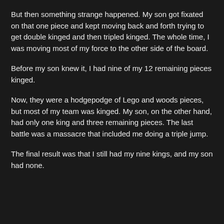But then something strange happened. My son got fixated on that one piece and kept moving back and forth trying to get double kinged and then tripled kinged. The whole time, I was moving most of my force to the other side of the board.
Before my son knew it, I had nine of my 12 remaining pieces kinged.
Now, they were a hodgepodge of Lego and woods pieces, but most of my team was kinged. My son, on the other hand, had only one king and three remaining pieces. The last battle was a massacre that included me doing a triple jump.
The final result was that I still had my nine kings, and my son had none.